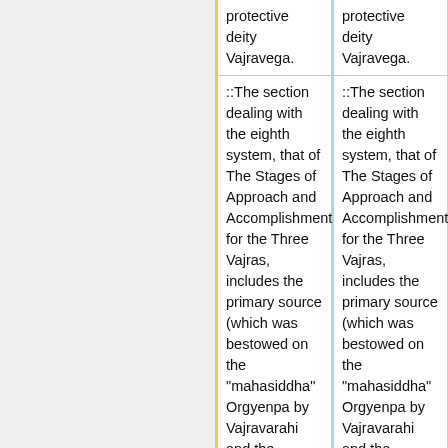| protective deity Vajravega. | protective deity Vajravega. |
| ::The section dealing with the eighth system, that of The Stages of Approach and Accomplishment for the Three Vajras, includes the primary source (which was bestowed on the "mahasiddha" Orgyenpa by Vajravarahi and the dakinis of the four families). There is also the explanatory | ::The section dealing with the eighth system, that of The Stages of Approach and Accomplishment for the Three Vajras, includes the primary source (which was bestowed on the "mahasiddha" Orgyenpa by Vajravarahi and the dakinis of the four families). There is also the explanatory |